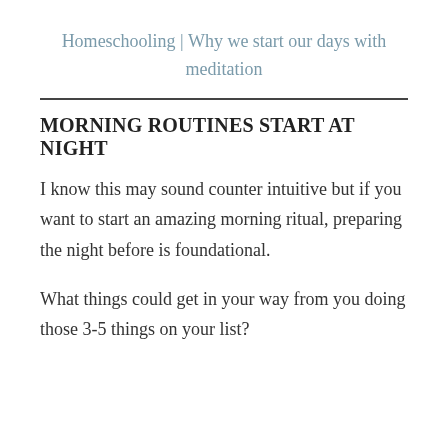Homeschooling | Why we start our days with meditation
MORNING ROUTINES START AT NIGHT
I know this may sound counter intuitive but if you want to start an amazing morning ritual, preparing the night before is foundational.
What things could get in your way from you doing those 3-5 things on your list?